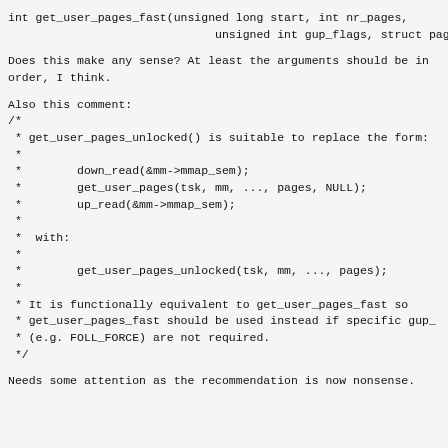Does this make any sense? At least the arguments should be in order, I think.
Also this comment:
Needs some attention as the recommendation is now nonsense.